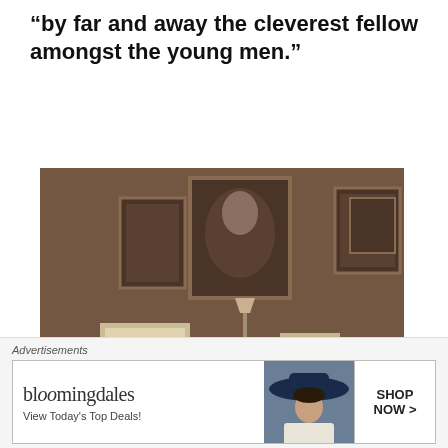“by far and away the cleverest fellow amongst the young men.”
[Figure (photo): Sepia-toned historical photograph of a young man seated in a room with patterned wallpaper, surrounded by framed portraits on the walls, a lamp, candles, papers on a stand, and various items on a shelf behind him. The man is looking at the camera with his hand raised near his face.]
Advertisements
[Figure (other): Bloomingdale's advertisement banner showing the Bloomingdale's logo, text 'View Today's Top Deals!', a model wearing a large navy hat, and a 'SHOP NOW >' button.]